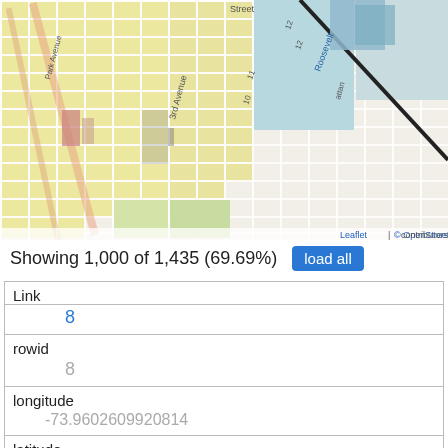[Figure (map): Street map of Manhattan/New York City area showing a grid of streets, avenues (3rd Avenue, Park Avenue, Roosevelt), colored blocks, and a diagonal black line across the map. Map tiles from OpenStreetMap.]
Showing 1,000 of 1,435 (69.69%)  load all
| Field | Value |
| --- | --- |
| Link | 8 |
| rowid | 8 |
| longitude | -73.9602609920814 |
| latitude | 40.7942883045566 |
| Unique Squirrel ID | 35C-PM-1013-03 |
| Hectare | 35C |
| Shift |  |